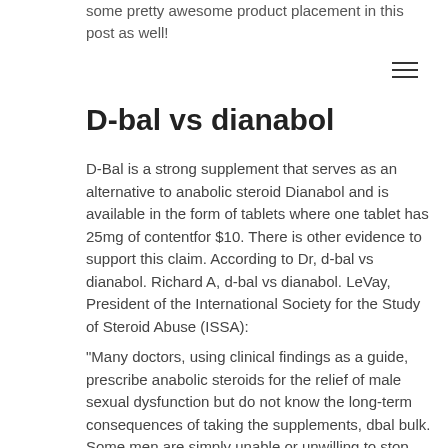some pretty awesome product placement in this post as well!
D-bal vs dianabol
D-Bal is a strong supplement that serves as an alternative to anabolic steroid Dianabol and is available in the form of tablets where one tablet has 25mg of contentfor $10. There is other evidence to support this claim. According to Dr, d-bal vs dianabol. Richard A, d-bal vs dianabol. LeVay, President of the International Society for the Study of Steroid Abuse (ISSA):
"Many doctors, using clinical findings as a guide, prescribe anabolic steroids for the relief of male sexual dysfunction but do not know the long-term consequences of taking the supplements, dbal bulk. Some men are simply unable or unwilling to stop taking the